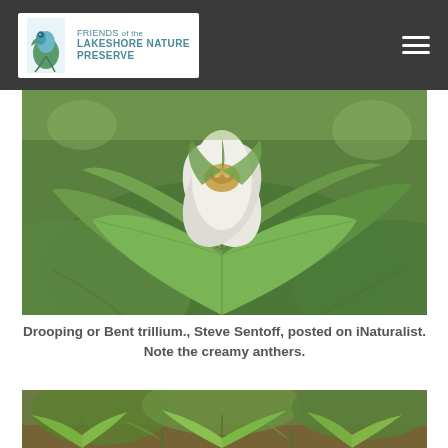Friends of the Lakeshore Nature Preserve
[Figure (photo): Close-up photograph of a drooping or bent trillium flower with white petals and creamy anthers, surrounded by large green leaves.]
Drooping or Bent trillium., Steve Sentoff, posted on iNaturalist. Note the creamy anthers.
[Figure (photo): Ground-level photograph of trillium plants growing on a forest floor with leaf litter and other woodland vegetation.]